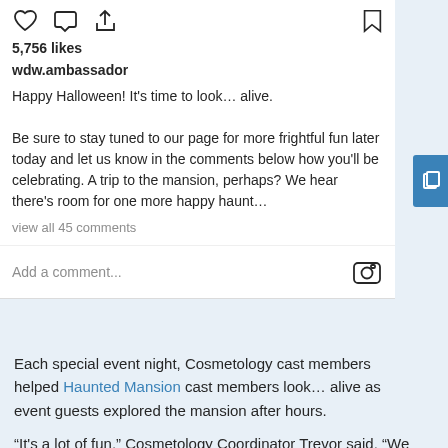5,756 likes
wdw.ambassador
Happy Halloween! It's time to look… alive.

Be sure to stay tuned to our page for more frightful fun later today and let us know in the comments below how you'll be celebrating. A trip to the mansion, perhaps? We hear there's room for one more happy haunt…
view all 45 comments
Add a comment...
Each special event night, Cosmetology cast members helped Haunted Mansion cast members look… alive as event guests explored the mansion after hours.
“It's a lot of fun,” Cosmetology Coordinator Trevor said. “We get to bring the fun of cosmetology and makeup to different lines of business that don’t get to use it every day.”